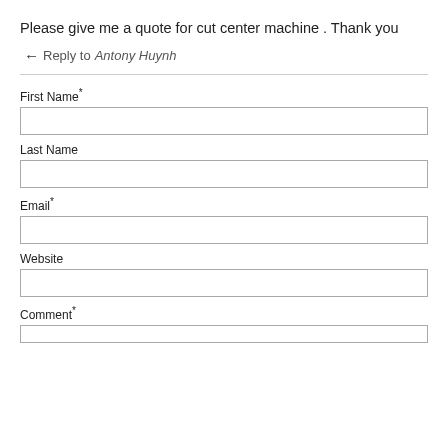Please give me a quote for cut center machine . Thank you
← Reply to Antony Huynh
First Name*
Last Name
Email*
Website
Comment*